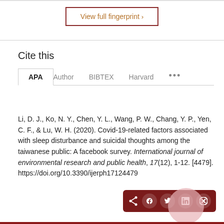View full fingerprint >
Cite this
APA | Author | BIBTEX | Harvard | ...
Li, D. J., Ko, N. Y., Chen, Y. L., Wang, P. W., Chang, Y. P., Yen, C. F., & Lu, W. H. (2020). Covid-19-related factors associated with sleep disturbance and suicidal thoughts among the taiwanese public: A facebook survey. International journal of environmental research and public health, 17(12), 1-12. [4479]. https://doi.org/10.3390/ijerph17124479